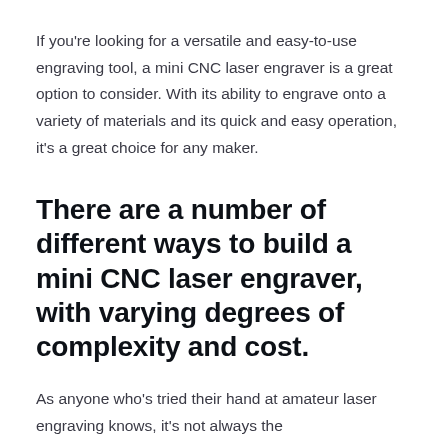If you're looking for a versatile and easy-to-use engraving tool, a mini CNC laser engraver is a great option to consider. With its ability to engrave onto a variety of materials and its quick and easy operation, it's a great choice for any maker.
There are a number of different ways to build a mini CNC laser engraver, with varying degrees of complexity and cost.
As anyone who's tried their hand at amateur laser engraving knows, it's not always the